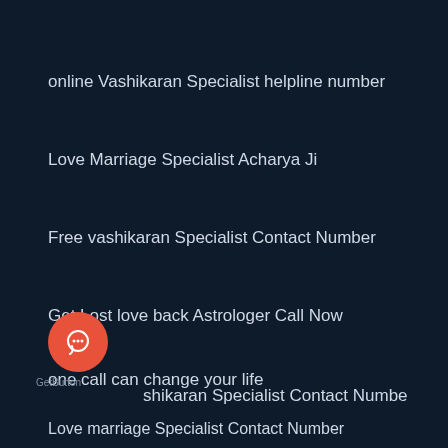online Vashikaran Specialist helpline number
Love Marriage Specialist Acharya Ji
Free vashikaran Specialist Contact Number
Get Lost love back Astrologer Call Now
one call can change your life
Black magic Specialist Contact Number
L…shikaran Specialist Contact Number
Love marriage Specialist Contact Number